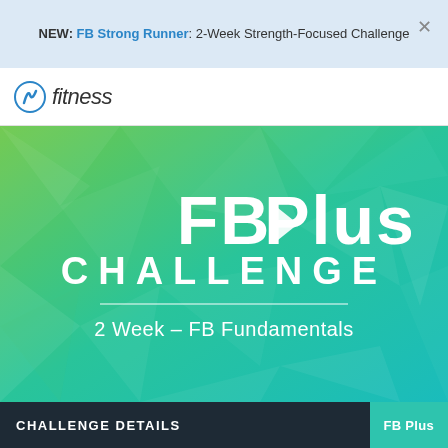NEW: FB Strong Runner: 2-Week Strength-Focused Challenge
[Figure (logo): Fitness Blender logo with stylized 'fb' icon and italic 'fitness' text]
[Figure (illustration): FB Plus Challenge hero banner with green-to-teal gradient polygon background showing large white text 'FB Plus CHALLENGE' with a play button icon and subtitle '2 Week - FB Fundamentals']
CHALLENGE DETAILS